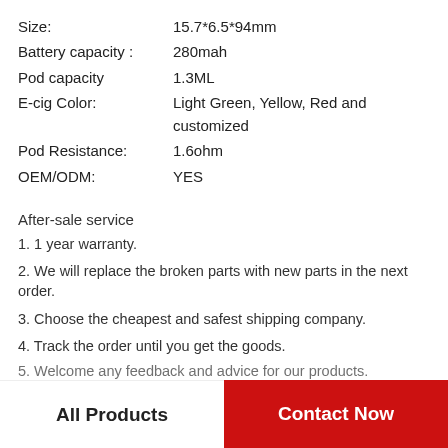| Size: | 15.7*6.5*94mm |
| Battery capacity : | 280mah |
| Pod capacity | 1.3ML |
| E-cig Color: | Light Green, Yellow, Red and customized |
| Pod Resistance: | 1.6ohm |
| OEM/ODM: | YES |
After-sale service
1. 1 year warranty.
2. We will replace the broken parts with new parts in the next order.
3. Choose the cheapest and safest shipping company.
4. Track the order until you get the goods.
5. Welcome any feedback and advice for our products.
All Products   Contact Now